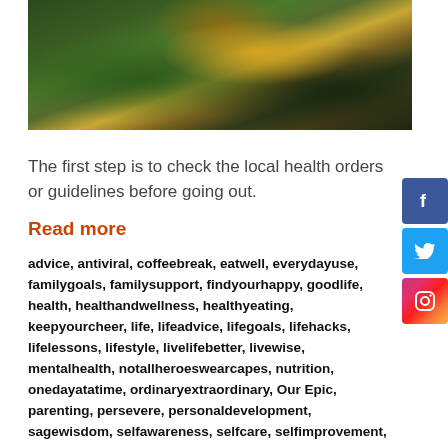[Figure (photo): Forest floor scene with mossy ground, fallen logs, and yellow-green foliage in a dark woodland setting]
The first step is to check the local health orders or guidelines before going out.
Read more
advice, antiviral, coffeebreak, eatwell, everydayuse, familygoals, familysupport, findyourhappy, goodlife, health, healthandwellness, healthyeating, keepyourcheer, life, lifeadvice, lifegoals, lifehacks, lifelessons, lifestyle, livelifebetter, livewise, mentalhealth, notallheroeswearcapes, nutrition, onedayatatime, ordinaryextraordinary, Our Epic, parenting, persevere, personaldevelopment, sagewisdom, selfawareness, selfcare, selfimprovement, stayathome, stayathomelife, stayhealthy, staypositive, staystrong, staywell, success, wellness, whenlifegivesyoulemons, workingparents -